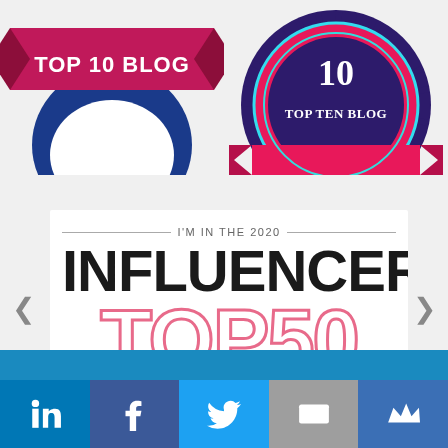[Figure (logo): Top 10 Blog badge - crimson ribbon banner with blue circle emblem, partially cropped at bottom]
[Figure (logo): Top Ten Blog badge - circular gear/seal design with pink ribbon and number 10, partially cropped]
[Figure (infographic): I'm in the 2020 Influencer TOP50 badge - white background with decorative lines, large black INFLUENCER text and large pink outlined TOP50 text]
[Figure (screenshot): Partial view of another image at bottom, cut off - blue background visible]
[Figure (infographic): Social sharing bar with LinkedIn, Facebook, Twitter, Email, and MightyBell icons on colored backgrounds]